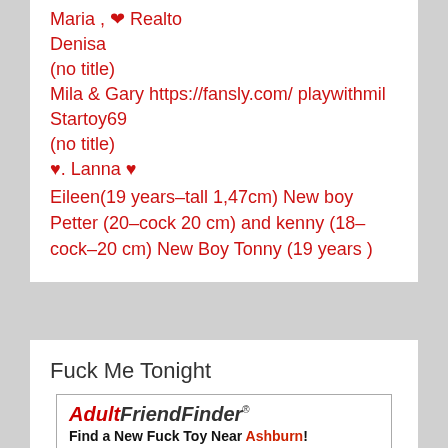Maria , ❤ Realto
Denisa
(no title)
Mila & Gary https://fansly.com/ playwithmil
Startoy69
(no title)
♥. Lanna ♥
Eileen(19 years–tall 1,47cm) New boy Petter (20–cock 20 cm) and kenny (18–cock–20 cm) New Boy Tonny (19 years )
Fuck Me Tonight
[Figure (other): AdultFriendFinder advertisement banner with text 'Find a New Fuck Toy Near Ashburn!']